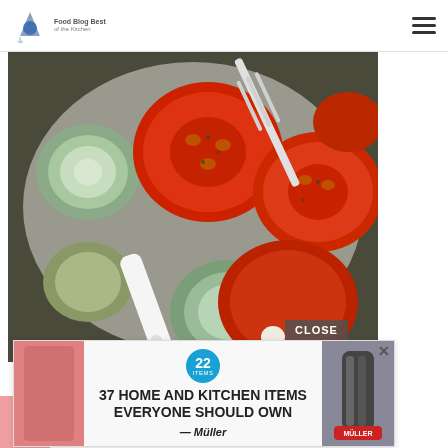Food / blog site header with logo and hamburger menu
[Figure (photo): Close-up photo of roasted tomatoes and zucchini in a white bowl with a fork and knife, showing caramelized red tomato slices and sliced green zucchini.]
CLOSE
[Figure (infographic): Advertisement banner: '37 HOME AND KITCHEN ITEMS EVERYONE SHOULD OWN' with Mueller brand knife sharpener image and a blue badge showing 22.]